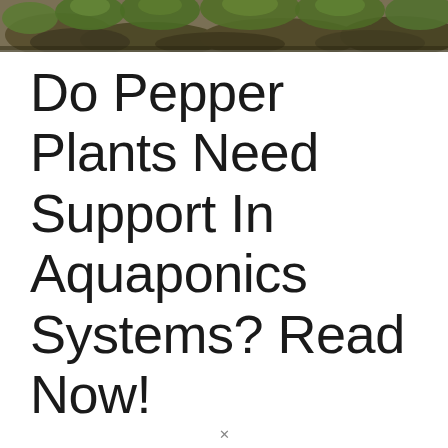[Figure (photo): Outdoor nature/garden photo banner showing mossy rocks and fern-like green plants with earthy tones]
Do Pepper Plants Need Support In Aquaponics Systems? Read Now!